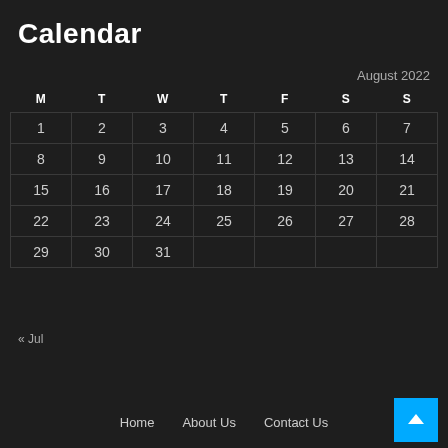Calendar
August 2022
| M | T | W | T | F | S | S |
| --- | --- | --- | --- | --- | --- | --- |
| 1 | 2 | 3 | 4 | 5 | 6 | 7 |
| 8 | 9 | 10 | 11 | 12 | 13 | 14 |
| 15 | 16 | 17 | 18 | 19 | 20 | 21 |
| 22 | 23 | 24 | 25 | 26 | 27 | 28 |
| 29 | 30 | 31 |  |  |  |  |
« Jul
Home   About Us   Contact Us